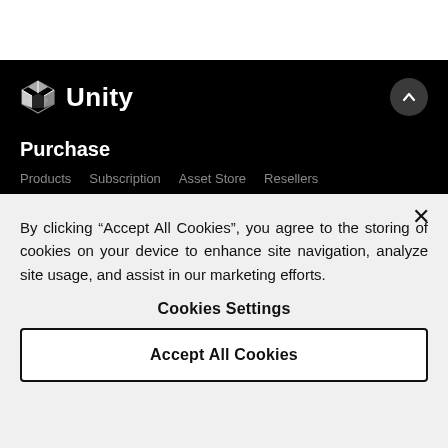[Figure (logo): Unity logo with geometric cube icon and 'Unity' text in white on black navbar]
Purchase
Products  Subscription  Asset Store  Resellers
By clicking “Accept All Cookies”, you agree to the storing of cookies on your device to enhance site navigation, analyze site usage, and assist in our marketing efforts.
Cookies Settings
Accept All Cookies